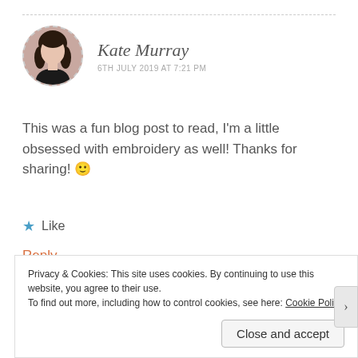Kate Murray
6TH JULY 2019 AT 7:21 PM
This was a fun blog post to read, I'm a little obsessed with embroidery as well! Thanks for sharing! 🙂
★ Like
Reply
Privacy & Cookies: This site uses cookies. By continuing to use this website, you agree to their use.
To find out more, including how to control cookies, see here: Cookie Policy
Close and accept